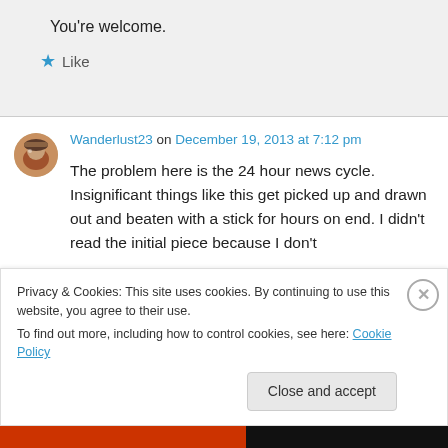You're welcome.
★ Like
Wanderlust23 on December 19, 2013 at 7:12 pm
The problem here is the 24 hour news cycle. Insignificant things like this get picked up and drawn out and beaten with a stick for hours on end. I didn't read the initial piece because I don't
Privacy & Cookies: This site uses cookies. By continuing to use this website, you agree to their use. To find out more, including how to control cookies, see here: Cookie Policy
Close and accept